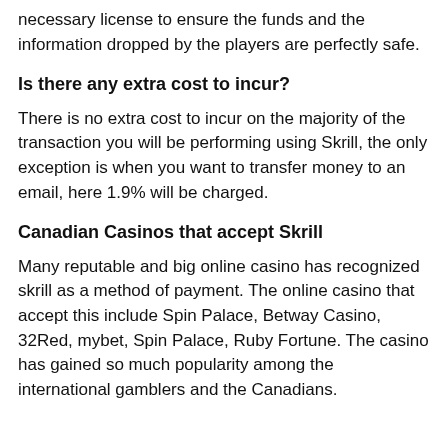necessary license to ensure the funds and the information dropped by the players are perfectly safe.
Is there any extra cost to incur?
There is no extra cost to incur on the majority of the transaction you will be performing using Skrill, the only exception is when you want to transfer money to an email, here 1.9% will be charged.
Canadian Casinos that accept Skrill
Many reputable and big online casino has recognized skrill as a method of payment. The online casino that accept this include Spin Palace, Betway Casino, 32Red, mybet, Spin Palace, Ruby Fortune. The casino has gained so much popularity among the international gamblers and the Canadians.